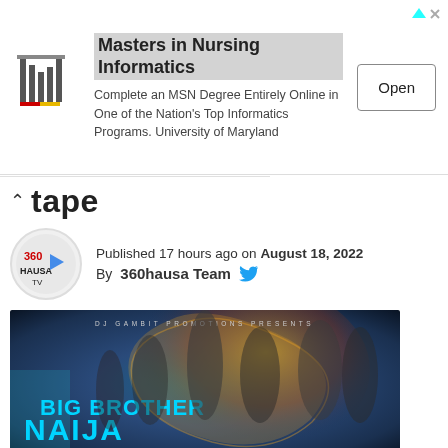[Figure (infographic): Advertisement banner: Masters in Nursing Informatics — Complete an MSN Degree Entirely Online in One of the Nation's Top Informatics Programs. University of Maryland. Open button on right. Logo on left.]
tape
Published 17 hours ago on August 18, 2022
By 360hausa Team
[Figure (photo): Big Brother Naija Season 7 mixtape promotional poster by DJ Gambit Promotions, showing multiple Nigerian music artists against a colorful swirling background.]